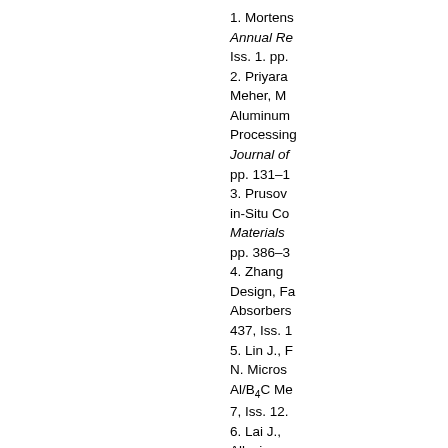1. Mortens... Annual Re... Iss. 1. pp. ...
2. Priyara... Meher, M... Aluminum... Processing... Journal of... pp. 131-1...
3. Prusov... in-Situ Co... Materials ... pp. 386-3...
4. Zhang ... Design, Fa... Absorbers... 437, Iss. 1...
5. Lin J., F... N. Micros... Al/B4C Me... 7, Iss. 12....
6. Lai J., ... Alloying or... of as Ca... Materials ... 11. pp. 12...
7. Lee D., ... Lee S.-B., ... Absorbing...